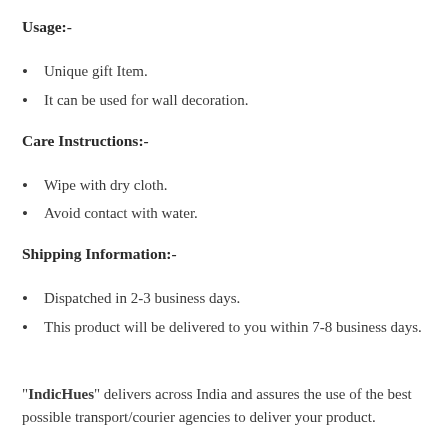Usage:-
Unique gift Item.
It can be used for wall decoration.
Care Instructions:-
Wipe with dry cloth.
Avoid contact with water.
Shipping Information:-
Dispatched in 2-3 business days.
This product will be delivered to you within 7-8 business days.
"IndicHues" delivers across India and assures the use of the best possible transport/courier agencies to deliver your product.
Additional Information